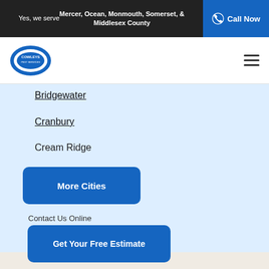Yes, we serve Mercer, Ocean, Monmouth, Somerset, & Middlesex County
Call Now
[Figure (logo): Cowleys Pest Services logo - circular blue and white emblem with COWLEYS text]
Bridgewater
Cranbury
Cream Ridge
More Cities
Contact Us Online
Get Your Free Estimate